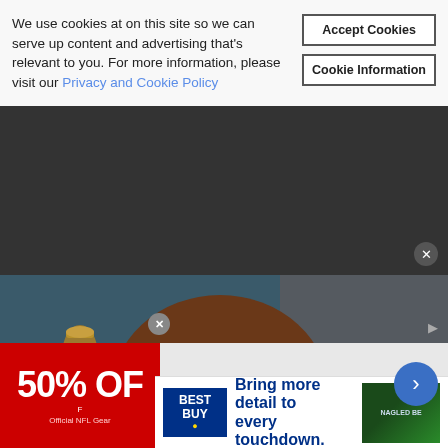We use cookies at on this site so we can serve up content and advertising that's relevant to you. For more information, please visit our Privacy and Cookie Policy
[Figure (photo): Woman with auburn curly hair, wearing turquoise drop earrings and a gold sequined dress, mouth open mid-speech, seated in a room with dark teal background and gold decorative vases. Bravo network watermark visible.]
[Figure (photo): Advertisement showing Official NFL Gear - 50% OFF with red background, and Best Buy advertisement showing 'Bring more detail to every touchdown' with a TV/football image]